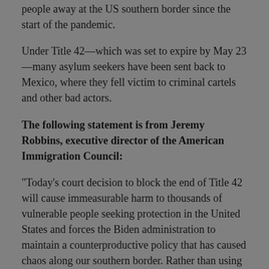people away at the US southern border since the start of the pandemic.
Under Title 42—which was set to expire by May 23—many asylum seekers have been sent back to Mexico, where they fell victim to criminal cartels and other bad actors.
The following statement is from Jeremy Robbins, executive director of the American Immigration Council:
“Today’s court decision to block the end of Title 42 will cause immeasurable harm to thousands of vulnerable people seeking protection in the United States and forces the Biden administration to maintain a counterproductive policy that has caused chaos along our southern border. Rather than using public health laws to turn asylum seekers away, the United States should be working to rebuild a humanitarian protection system at the border that is safe, humane, orderly, and that can respond in times of global